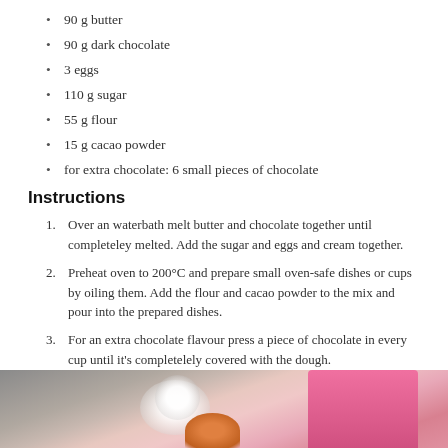90 g butter
90 g dark chocolate
3 eggs
110 g sugar
55 g flour
15 g cacao powder
for extra chocolate: 6 small pieces of chocolate
Instructions
Over an waterbath melt butter and chocolate together until completeley melted. Add the sugar and eggs and cream together.
Preheat oven to 200°C and prepare small oven-safe dishes or cups by oiling them. Add the flour and cacao powder to the mix and pour into the prepared dishes.
For an extra chocolate flavour press a piece of chocolate in every cup until it's completelely covered with the dough.
Bake for 10 minutes until the egdes are slightly brown and hard but the center is still soft. Serve warm with powdered sugar or ice cream.
[Figure (photo): Bottom strip photo showing blurred flowers and a pink cup with a baked item, soft focus food photography background.]